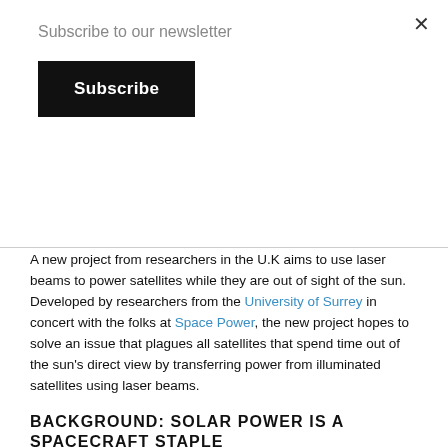Subscribe to our newsletter
Subscribe
×
A new project from researchers in the U.K aims to use laser beams to power satellites while they are out of sight of the sun. Developed by researchers from the University of Surrey in concert with the folks at Space Power, the new project hopes to solve an issue that plagues all satellites that spend time out of the sun's direct view by transferring power from illuminated satellites using laser beams.
BACKGROUND: SOLAR POWER IS A SPACECRAFT STAPLE
Most artificial satellites use solar power to power their onboard systems. However, satellites in Low Earth Orbit (LEO) experience prolonged periods in the Earth's shadow, robbing them of